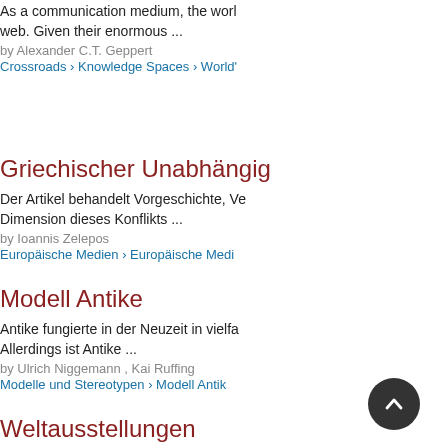As a communication medium, the world wide web. Given their enormous ...
by Alexander C.T. Geppert
Crossroads › Knowledge Spaces › World'
Griechischer Unabhängigk
Der Artikel behandelt Vorgeschichte, Ve Dimension dieses Konflikts ...
by Ioannis Zelepos
Europäische Medien › Europäische Medi
Modell Antike
Antike fungierte in der Neuzeit in vielfa Allerdings ist Antike ...
by Ulrich Niggemann , Kai Ruffing
Modelle und Stereotypen › Modell Antik
Weltausstellungen
Die Weltausstellungen des 19. Jahrhund enormen, alle anderen Medienformen .
by Alexander C.T. Geppert
Crossroads › Wissensräume › W...usste